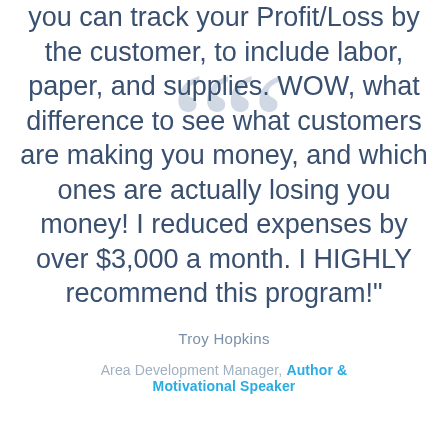you can track your Profit/Loss by the customer, to include labor, paper, and supplies. WOW, what difference to see what customers are making you money, and which ones are actually losing you money! I reduced expenses by over $3,000 a month. I HIGHLY recommend this program!"
Troy Hopkins
Area Development Manager, Author & Motivational Speaker